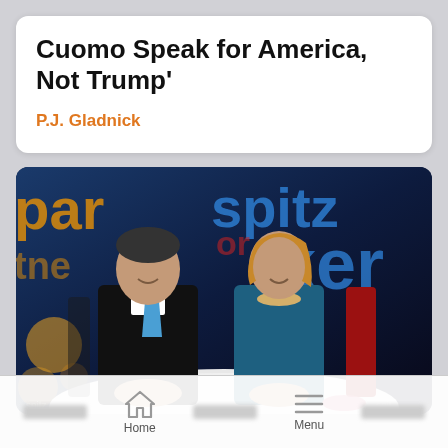Cuomo Speak for America, Not Trump'
P.J. Gladnick
[Figure (photo): Two TV news anchors, a man in a dark suit with a blue tie and a woman in a teal dress with a pearl necklace, sitting at a curved white news desk in front of a colorful TV studio background with orange and blue text graphics.]
Home   Menu